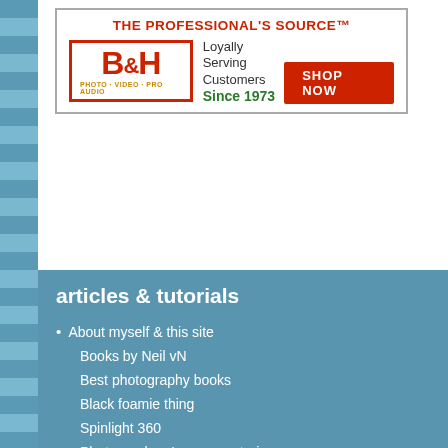[Figure (logo): B&H Photo Video Pro Audio advertisement banner. Red text 'THE PROFESSIONAL'S SOURCE™', B&H logo in red border, green text 'Loyally Serving Customers Since 1973', red 'SHOP NOW' button.]
articles & tutorials
• About myself & this site
Books by Neil vN
Best photography books
Black foamie thing
Spinlight 360
Photographers' success stories
email newsletter
• Flash Photography Techniques
Natural looking flash
Flash + Ambient light
Dragging the shutter
Bouncing your flash